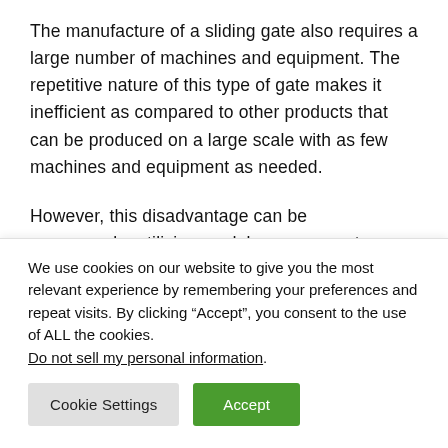The manufacture of a sliding gate also requires a large number of machines and equipment. The repetitive nature of this type of gate makes it inefficient as compared to other products that can be produced on a large scale with as few machines and equipment as needed.
However, this disadvantage can be overcome by utilizing modular components.
We use cookies on our website to give you the most relevant experience by remembering your preferences and repeat visits. By clicking “Accept”, you consent to the use of ALL the cookies. Do not sell my personal information.